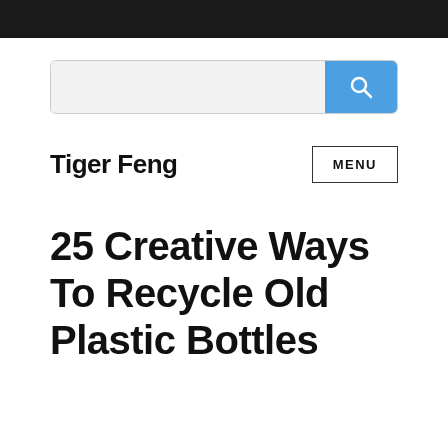[Figure (screenshot): Search bar with text input and blue search button with magnifying glass icon]
Tiger Feng
MENU
25 Creative Ways To Recycle Old Plastic Bottles